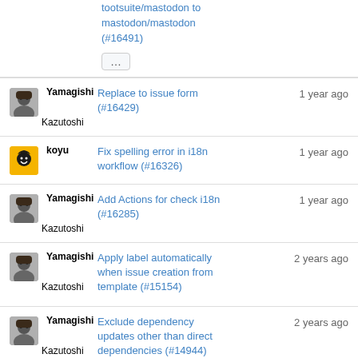tootsuite/mastodon to mastodon/mastodon (#16491) ...
Yamagishi Kazutoshi — Replace to issue form (#16429) — 1 year ago
koyu — Fix spelling error in i18n workflow (#16326) — 1 year ago
Yamagishi Kazutoshi — Add Actions for check i18n (#16285) — 1 year ago
Yamagishi Kazutoshi — Apply label automatically when issue creation from template (#15154) — 2 years ago
Yamagishi Kazutoshi — Exclude dependency updates other than direct dependencies (#14944) — 2 years ago